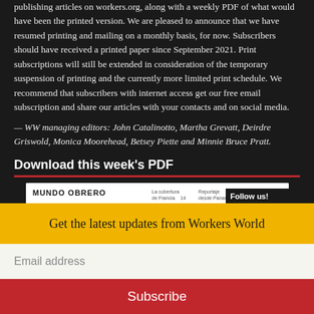publishing articles on workers.org, along with a weekly PDF of what would have been the printed version. We are pleased to announce that we have resumed printing and mailing on a monthly basis, for now. Subscribers should have received a printed paper since September 2021. Print subscriptions will still be extended in consideration of the temporary suspension of printing and the currently more limited print schedule. We recommend that subscribers with internet access get our free email subscription and share our articles with your contacts and on social media.
— WW managing editors: John Catalinotto, Martha Grevatt, Deirdre Griswold, Monica Moorehead, Betsey Piette and Minnie Bruce Pratt.
Download this week's PDF
[Figure (other): Preview image of Workers World / Mundo Obrero newspaper PDF with Follow us social media box]
Get the latest updates from Workers World
Email address
Subscribe